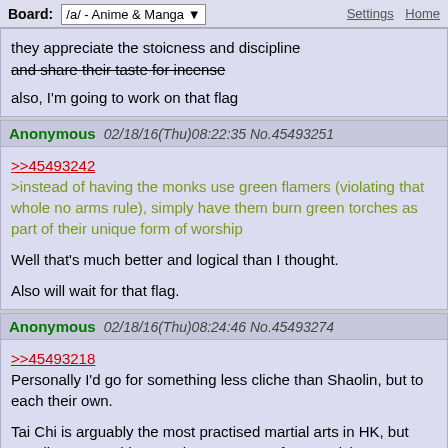Board: /a/ - Anime & Manga   Settings  Home
they appreciate the stoicness and discipline
and share their taste for incense

also, I'm going to work on that flag
Anonymous   02/18/16(Thu)08:22:35 No.45493251
>>45493242
>instead of having the monks use green flamers (violating that whole no arms rule), simply have them burn green torches as part of their unique form of worship

Well that's much better and logical than I thought.

Also will wait for that flag.
Anonymous   02/18/16(Thu)08:24:46 No.45493274
>>45493218
Personally I'd go for something less cliche than Shaolin, but to each their own.

Tai Chi is arguably the most practised martial arts in HK, but usually among older people as a means for exercising
Anonymous   02/18/16(Thu)08:27:38 No.45493288